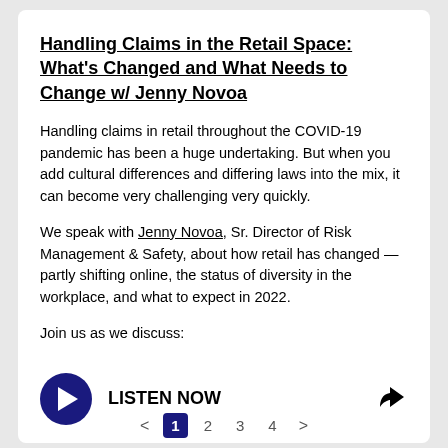Handling Claims in the Retail Space: What's Changed and What Needs to Change w/ Jenny Novoa
Handling claims in retail throughout the COVID-19 pandemic has been a huge undertaking. But when you add cultural differences and differing laws into the mix, it can become very challenging very quickly.
We speak with Jenny Novoa, Sr. Director of Risk Management & Safety, about how retail has changed — partly shifting online, the status of diversity in the workplace, and what to expect in 2022.
Join us as we discuss:
[Figure (other): Play button and LISTEN NOW label with share icon]
< 1 2 3 4 >